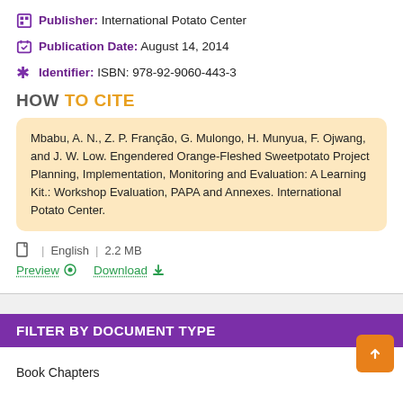Publisher: International Potato Center
Publication Date: August 14, 2014
Identifier: ISBN: 978-92-9060-443-3
HOW TO CITE
Mbabu, A. N., Z. P. Franção, G. Mulongo, H. Munyua, F. Ojwang, and J. W. Low. Engendered Orange-Fleshed Sweetpotato Project Planning, Implementation, Monitoring and Evaluation: A Learning Kit.: Workshop Evaluation, PAPA and Annexes. International Potato Center.
English | 2.2 MB
Preview  Download
FILTER BY DOCUMENT TYPE
Book Chapters